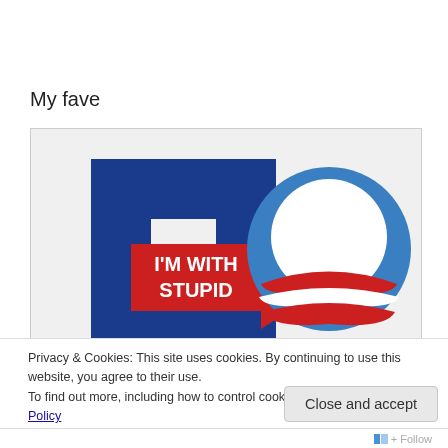My fave
[Figure (illustration): Political image combining the Hillary Clinton 'H with arrow' logo with the text 'I'M WITH STUPID' pointing right toward the Obama campaign logo (circular O with red and white stripes).]
Privacy & Cookies: This site uses cookies. By continuing to use this website, you agree to their use.
To find out more, including how to control cookies, see here: Cookie Policy
Close and accept